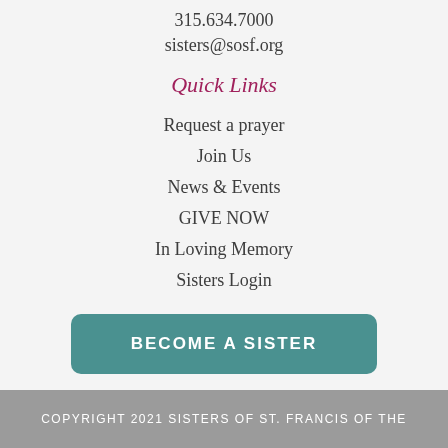315.634.7000
sisters@sosf.org
Quick Links
Request a prayer
Join Us
News & Events
GIVE NOW
In Loving Memory
Sisters Login
BECOME A SISTER
COPYRIGHT 2021 SISTERS OF ST. FRANCIS OF THE